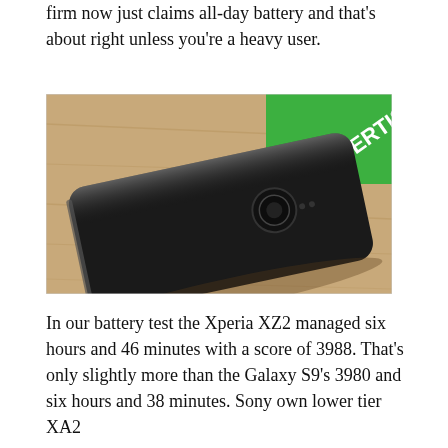firm now just claims all-day battery and that's about right unless you're a heavy user.
[Figure (photo): Sony Xperia XZ2 smartphone lying face-down on a light wood surface, showing the glossy black back panel and camera. A green box or sign with text 'VERTISING' is visible in the upper right background.]
In our battery test the Xperia XZ2 managed six hours and 46 minutes with a score of 3988. That's only slightly more than the Galaxy S9's 3980 and six hours and 38 minutes. Sony own lower tier XA2